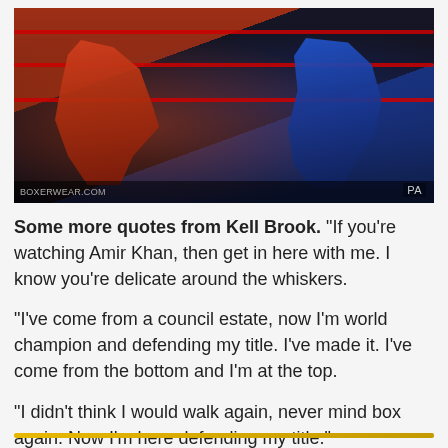[Figure (photo): Two boxers fighting in a boxing ring. Left boxer wears red shorts, right boxer wears blue shorts. Red ring ropes visible in background. PA watermark in bottom-right corner.]
Some more quotes from Kell Brook. "If you're watching Amir Khan, then get in here with me. I know you're delicate around the whiskers.

"I've come from a council estate, now I'm world champion and defending my title. I've made it. I've come from the bottom and I'm at the top.

"I didn't think I would walk again, never mind box again. Now I'm here defending my title."